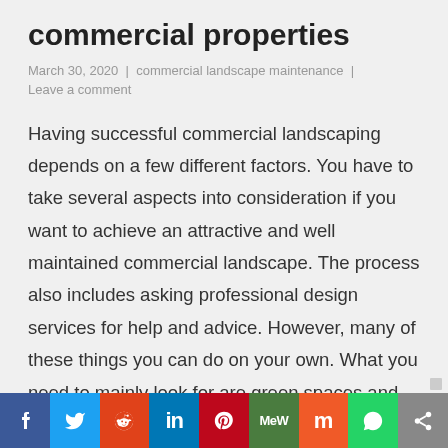commercial properties
March 30, 2020 | commercial landscape maintenance | Leave a comment
Having successful commercial landscaping depends on a few different factors. You have to take several aspects into consideration if you want to achieve an attractive and well maintained commercial landscape. The process also includes asking professional design services for help and advice. However, many of these things you can do on your own. What you need to mainly look for are green spaces and garden plantings that will complement the area and make it more eco-friendly. These six simple steps will definitely help you take your landscape maintenance on another
[Figure (infographic): Social media share bar with icons for Facebook, Twitter, Reddit, LinkedIn, Pinterest, MeWe, Mix, WhatsApp, and a share button]